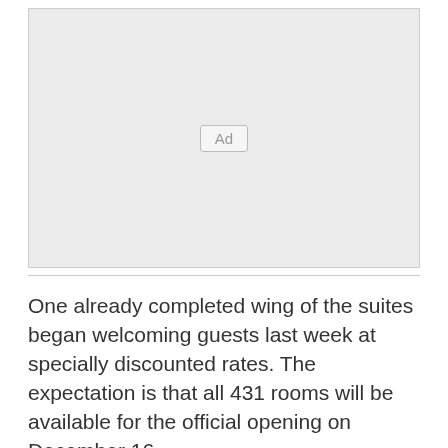[Figure (other): Advertisement placeholder box with 'Ad' label]
One already completed wing of the suites began welcoming guests last week at specially discounted rates. The expectation is that all 431 rooms will be available for the official opening on December 16.